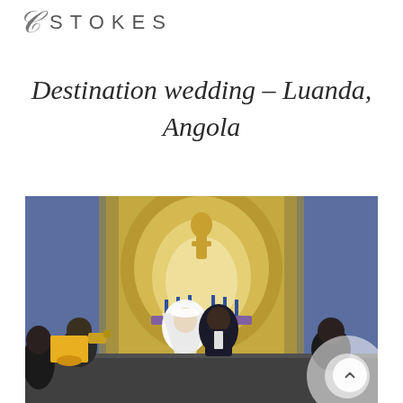STOKES
Destination wedding – Luanda, Angola
[Figure (photo): Wedding ceremony inside an ornate church with blue tile walls and a golden statue/altar in the background. The bride in a white dress with veil and groom in dark suit are seen from behind at the altar. A photographer and guests are visible. Warm golden light streams in.]